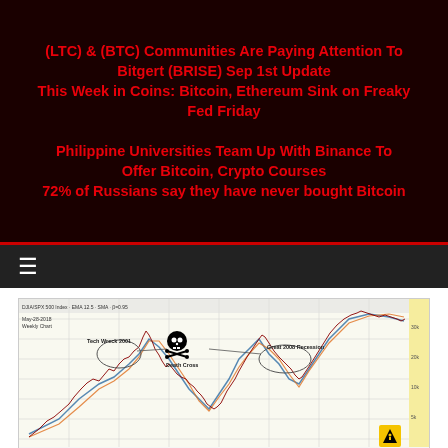(LTC) & (BTC) Communities Are Paying Attention To Bitgert (BRISE) Sep 1st Update
This Week in Coins: Bitcoin, Ethereum Sink on Freaky Fed Friday
Philippine Universities Team Up With Binance To Offer Bitcoin, Crypto Courses
72% of Russians say they have never bought Bitcoin
☰ navigation menu
[Figure (continuous-plot): Stock market weekly chart labeled 'May-28-2018 Weekly Chart' showing price history with annotations: 'Tech Wreck 2001', 'Death Cross' (skull-and-crossbones icon), and 'Great 2008 Recession'. Chart shows two major market downturns and a subsequent recovery to new highs. Blue and orange moving average lines overlaid on candlestick/line price data. Yellow warning diamond icon in bottom right corner.]